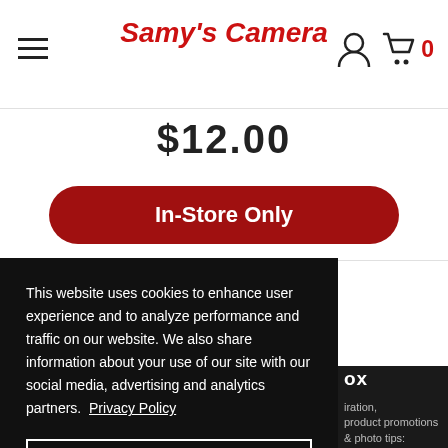Samy's Camera
$12.00
In-Store Only
This website uses cookies to enhance user experience and to analyze performance and traffic on our website. We also share information about your use of our site with our social media, advertising and analytics partners. Privacy Policy
Allow cookies
Dismiss
Cookie Preferences
ox
iration, product promotions & photo tips: